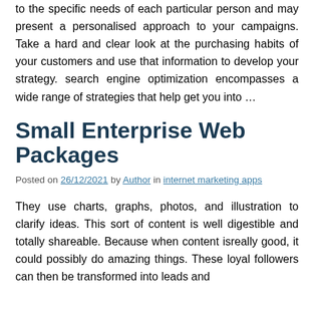to the specific needs of each particular person and may present a personalised approach to your campaigns. Take a hard and clear look at the purchasing habits of your customers and use that information to develop your strategy. search engine optimization encompasses a wide range of strategies that help get you into …
Small Enterprise Web Packages
Posted on 26/12/2021 by Author in internet marketing apps
They use charts, graphs, photos, and illustration to clarify ideas. This sort of content is well digestible and totally shareable. Because when content isreally good, it could possibly do amazing things. These loyal followers can then be transformed into leads and